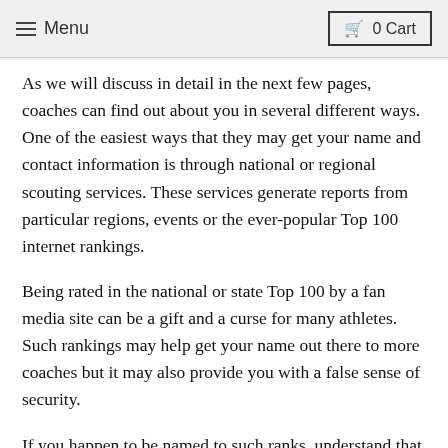Menu  0 Cart
As we will discuss in detail in the next few pages, coaches can find out about you in several different ways. One of the easiest ways that they may get your name and contact information is through national or regional scouting services. These services generate reports from particular regions, events or the ever-popular Top 100 internet rankings.
Being rated in the national or state Top 100 by a fan media site can be a gift and a curse for many athletes. Such rankings may help get your name out there to more coaches but it may also provide you with a false sense of security.
If you happen to be named to such ranks, understand that these lists are only a starting point for most coaches. It may put you on their radar or 'watch list'